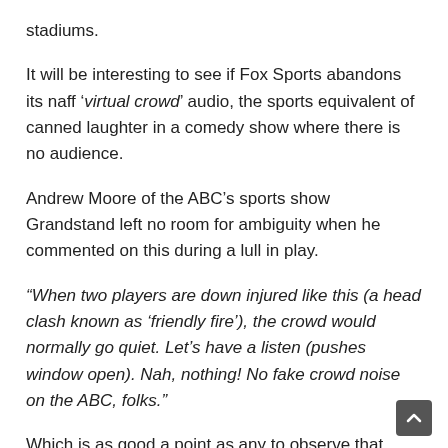stadiums.
It will be interesting to see if Fox Sports abandons its naff ‘virtual crowd’ audio, the sports equivalent of canned laughter in a comedy show where there is no audience.
Andrew Moore of the ABC’s sports show Grandstand left no room for ambiguity when he commented on this during a lull in play.
“When two players are down injured like this (a head clash known as ‘friendly fire’), the crowd would normally go quiet. Let’s have a listen (pushes window open). Nah, nothing! No fake crowd noise on the ABC, folks.”
Which is as good a point as any to observe that while arts communities were getting creative through the March/April covid-19 restrictions, the best Channel Nine (the home of rugby league) could come up with was re-runs of State of Origin matches from bygone eras. the transition over the next 12 months.